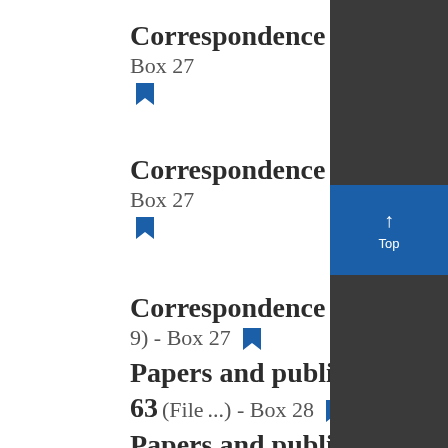Correspondence concerning Aboriginal rights, 1960 (File 7) - Box 27
Correspondence concerning Aboriginal rights, 1961 (File 8) - Box 27
Correspondence concerning Aboriginal rights, 1962-67 (File 9) - Box 27
Papers and publications concerning Aboriginal rights, 1957-63 (File ...) - Box 28
Papers and publications concerning...